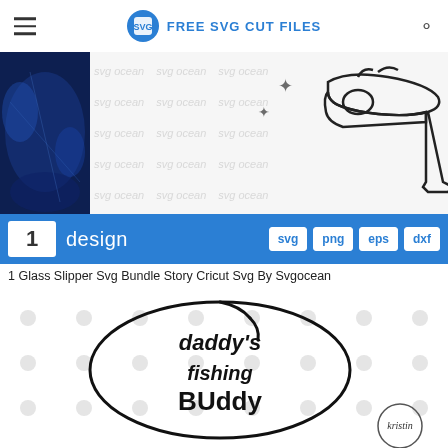FREE SVG CUT FILES
[Figure (screenshot): Product listing for Glass Slipper SVG Bundle showing a blue banner with '1 design' and format tags svg, png, eps, dxf, with a watermarked preview of a high-heel shoe SVG and a dark blue thumbnail on the left.]
1 Glass Slipper Svg Bundle Story Cricut Svg By Svgocean
[Figure (illustration): Illustration of 'daddy's fishing buddy' text inside a fish shape outline on a polka dot background, with a 'kristin' logo in the bottom right corner.]